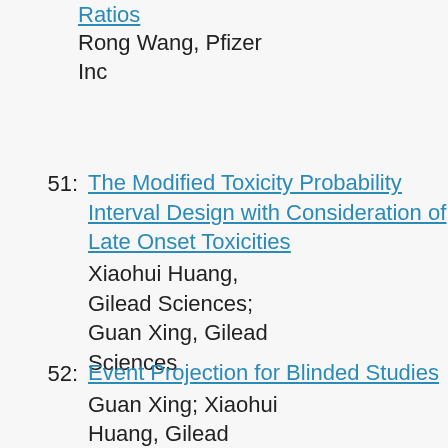Ratios
Rong Wang, Pfizer Inc
51: The Modified Toxicity Probability Interval Design with Consideration of Late Onset Toxicities
Xiaohui Huang, Gilead Sciences; Guan Xing, Gilead Sciences
52: Event Projection for Blinded Studies
Guan Xing; Xiaohui Huang, Gilead Sciences